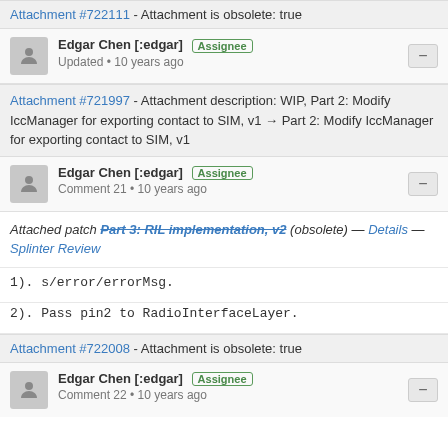Attachment #722111 - Attachment is obsolete: true
Edgar Chen [:edgar] Assignee
Updated • 10 years ago
Attachment #721997 - Attachment description: WIP, Part 2: Modify IccManager for exporting contact to SIM, v1 → Part 2: Modify IccManager for exporting contact to SIM, v1
Edgar Chen [:edgar] Assignee
Comment 21 • 10 years ago
Attached patch Part 3: RIL implementation, v2 (obsolete) — Details — Splinter Review
1).  s/error/errorMsg.
2).  Pass pin2 to RadioInterfaceLayer.
Attachment #722008 - Attachment is obsolete: true
Edgar Chen [:edgar] Assignee
Comment 22 • 10 years ago